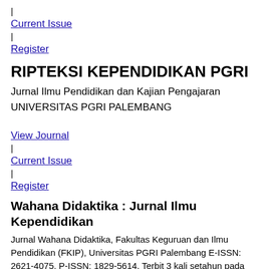| Current Issue | Register
RIPTEKSI KEPENDIDIKAN PGRI
Jurnal Ilmu Pendidikan dan Kajian Pengajaran
UNIVERSITAS PGRI PALEMBANG
View Journal | Current Issue | Register
Wahana Didaktika : Jurnal Ilmu Kependidikan
Jurnal Wahana Didaktika, Fakultas Keguruan dan Ilmu Pendidikan (FKIP), Universitas PGRI Palembang E-ISSN: 2621-4075, P-ISSN: 1829-5614. Terbit 3 kali setahun pada Januari, Mei, September